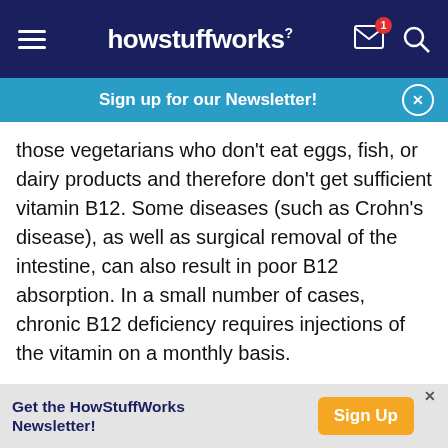howstuffworks
Sign up for our Newsletter!
those vegetarians who don't eat eggs, fish, or dairy products and therefore don't get sufficient vitamin B12. Some diseases (such as Crohn's disease), as well as surgical removal of the intestine, can also result in poor B12 absorption. In a small number of cases, chronic B12 deficiency requires injections of the vitamin on a monthly basis.

Scientists at the University of North Carolina discovered that if pregnant rats don't get enough of
Get the HowStuffWorks Newsletter!